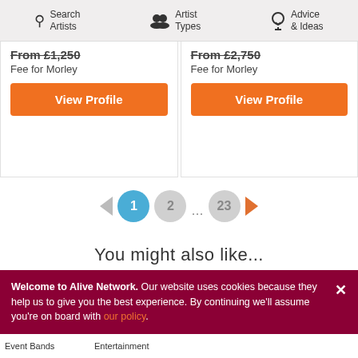Search Artists | Artist Types | Advice & Ideas
From £1,250 Fee for Morley
From £2,750 Fee for Morley
View Profile
View Profile
1  2  ...  23
You might also like...
[Figure (photo): Four photo tiles showing entertainment acts]
Welcome to Alive Network. Our website uses cookies because they help us to give you the best experience. By continuing we'll assume you're on board with our policy.
Event Bands
Entertainment